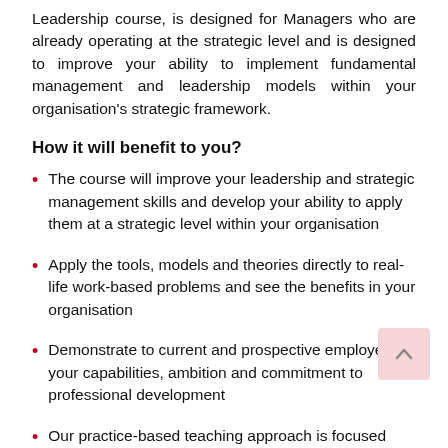Leadership course, is designed for Managers who are already operating at the strategic level and is designed to improve your ability to implement fundamental management and leadership models within your organisation's strategic framework.
How it will benefit to you?
The course will improve your leadership and strategic management skills and develop your ability to apply them at a strategic level within your organisation
Apply the tools, models and theories directly to real-life work-based problems and see the benefits in your organisation
Demonstrate to current and prospective employers your capabilities, ambition and commitment to professional development
Our practice-based teaching approach is focused